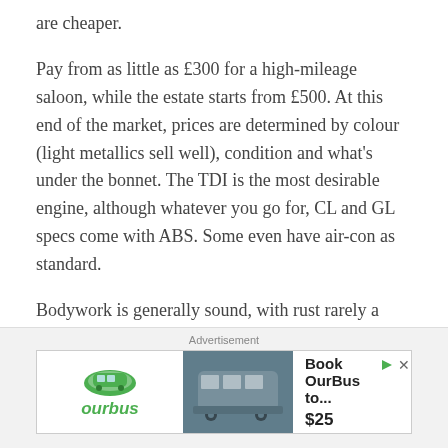are cheaper.
Pay from as little as £300 for a high-mileage saloon, while the estate starts from £500. At this end of the market, prices are determined by colour (light metallics sell well), condition and what's under the bonnet. The TDI is the most desirable engine, although whatever you go for, CL and GL specs come with ABS. Some even have air-con as standard.
Bodywork is generally sound, with rust rarely a serious issue, but some cars will now be looking tatty. Engines are
[Figure (other): Advertisement banner for OurBus/aurbus showing logo, bus image, 'Book OurBus to...' text and '$25' price]